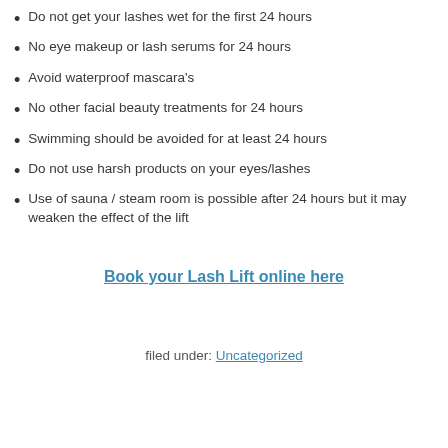Do not get your lashes wet for the first 24 hours
No eye makeup or lash serums for 24 hours
Avoid waterproof mascara's
No other facial beauty treatments for 24 hours
Swimming should be avoided for at least 24 hours
Do not use harsh products on your eyes/lashes
Use of sauna / steam room is possible after 24 hours but it may weaken the effect of the lift
Book your Lash Lift online here
filed under: Uncategorized